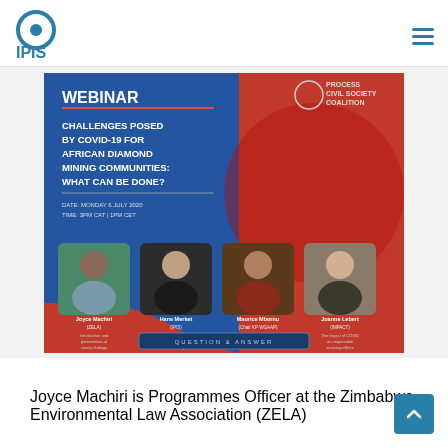IPIS
[Figure (illustration): Webinar promotional poster: 'CHALLENGES POSED BY COVID-19 FOR AFRICAN DIAMOND MINING COMMUNITIES: WHAT CAN BE DONE?' with Process Civil Society Coalition logo, date Monday 6 July 2020, featuring four speakers: Joyce Machiri (ZELA), Hans Merket (IPIS), Maurice Mbornu (Chair KP WGAAP), Joanne Lebert (IMPACT), with a Question & Answer button at the bottom.]
Joyce Machiri is Programmes Officer at the Zimbabwe Environmental Law Association (ZELA)